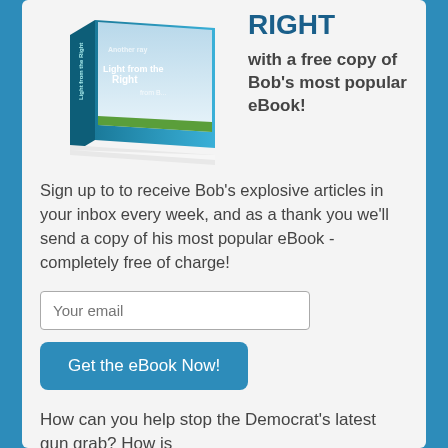[Figure (illustration): Book cover image titled 'Light from the Right' shown at an angle]
RIGHT
with a free copy of Bob's most popular eBook!
Sign up to to receive Bob's explosive articles in your inbox every week, and as a thank you we'll send a copy of his most popular eBook - completely free of charge!
Your email
Get the eBook Now!
How can you help stop the Democrat's latest gun grab? How is